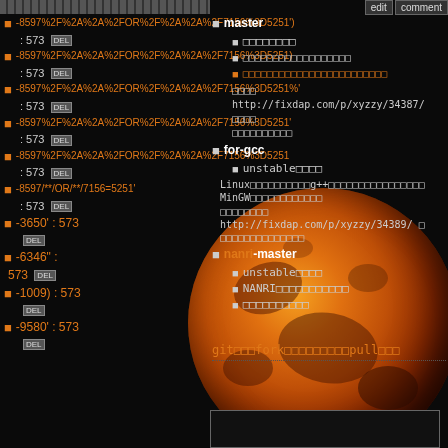-8597%2F%2A%2A%2FOR%2F%2A%2A%2F7156%3D5251') : 573 DEL
-8597%2F%2A%2A%2FOR%2F%2A%2A%2F7156%3D5251) : 573 DEL
-8597%2F%2A%2A%2FOR%2F%2A%2A%2F7156%3D5251%' : 573 DEL
-8597%2F%2A%2A%2FOR%2F%2A%2A%2F7156%3D5251' : 573 DEL
-8597%2F%2A%2A%2FOR%2F%2A%2A%2F7156%3D5251 : 573 DEL
-8597/**/OR/**/7156=5251' : 573 DEL
-3650' : 573 DEL
-6346" : 573 DEL
-1009) : 573 DEL
-9580' : 573 DEL
[Figure (photo): Moon photograph - large orange-red moon against black background]
master branch - unstable - for-gcc - unstable - Linux g++ MinGW - http://fixdap.com/p/xyzzy/34389/
nanri-master - unstable - NANRI - git fork pull